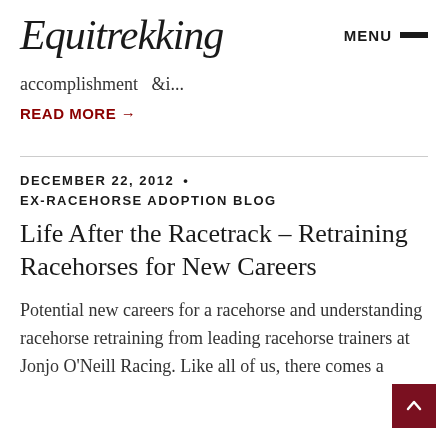Equitrekking  MENU
accomplishment  &i...
READ MORE →
DECEMBER 22, 2012  •  EX-RACEHORSE ADOPTION BLOG
Life After the Racetrack – Retraining Racehorses for New Careers
Potential new careers for a racehorse and understanding racehorse retraining from leading racehorse trainers at Jonjo O'Neill Racing. Like all of us, there comes a